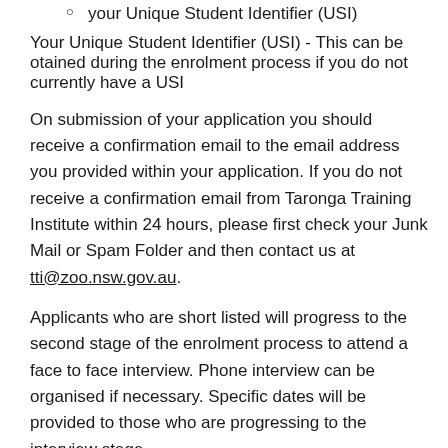your Unique Student Identifier (USI)
Your Unique Student Identifier (USI) - This can be otained during the enrolment process if you do not currently have a USI
On submission of your application you should receive a confirmation email to the email address you provided within your application. If you do not receive a confirmation email from Taronga Training Institute within 24 hours, please first check your Junk Mail or Spam Folder and then contact us at tti@zoo.nsw.gov.au.
Applicants who are short listed will progress to the second stage of the enrolment process to attend a face to face interview. Phone interview can be organised if necessary. Specific dates will be provided to those who are progressing to the interview stage.